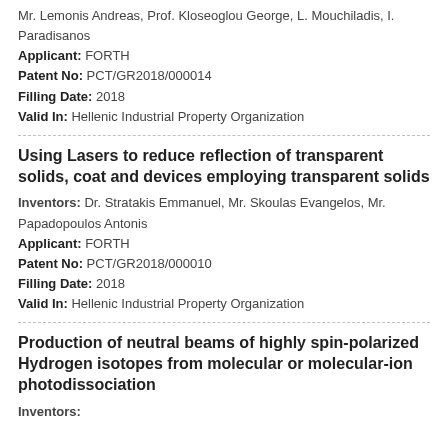Mr. Lemonis Andreas, Prof. Kloseoglou George, L. Mouchiladis, I. Paradisanos
Applicant: FORTH
Patent No: PCT/GR2018/000014
Filling Date: 2018
Valid In: Hellenic Industrial Property Organization
Using Lasers to reduce reflection of transparent solids, coat and devices employing transparent solids
Inventors: Dr. Stratakis Emmanuel, Mr. Skoulas Evangelos, Mr. Papadopoulos Antonis
Applicant: FORTH
Patent No: PCT/GR2018/000010
Filling Date: 2018
Valid In: Hellenic Industrial Property Organization
Production of neutral beams of highly spin-polarized Hydrogen isotopes from molecular or molecular-ion photodissociation
Inventors: